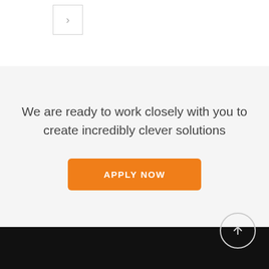[Figure (other): Navigation arrow button pointing right, with a light gray border]
We are ready to work closely with you to create incredibly clever solutions
[Figure (other): Orange rounded rectangle button labeled 'APPLY NOW' in white uppercase letters]
[Figure (other): Circular scroll-to-top button with an upward arrow, positioned over black footer area]